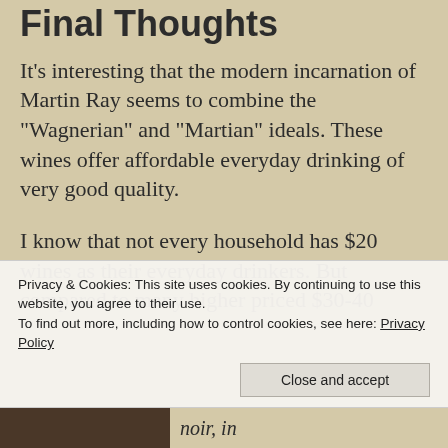Final Thoughts
It’s interesting that the modern incarnation of Martin Ray seems to combine the “Wagnerian” and “Martian” ideals. These wines offer affordable everyday drinking of very good quality.
I know that not every household has $20 wines as their everyday drinkers. But compared to many higher priced $30-40
Privacy & Cookies: This site uses cookies. By continuing to use this website, you agree to their use.
To find out more, including how to control cookies, see here: Privacy Policy
Close and accept
noir, in